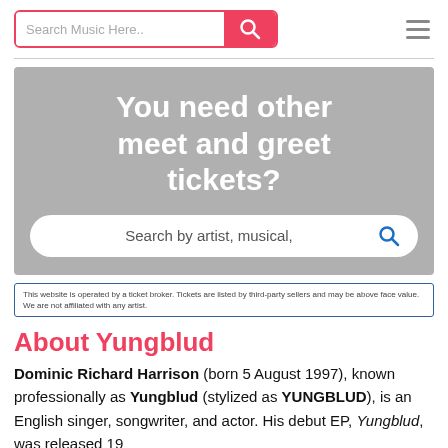Search Music Here..
[Figure (screenshot): Gray banner with large white bold text 'You need other meet and greet tickets?' and a white rounded search bar with blue search icon and placeholder 'Search by artist, musical,']
This website is operated by a ticket broker. Tickets are listed by third-party sellers and may be above face value. We are not affiliated with any artist.
About Yungblud
Dominic Richard Harrison (born 5 August 1997), known professionally as Yungblud (stylized as YUNGBLUD), is an English singer, songwriter, and actor. His debut EP, Yungblud, was released 19